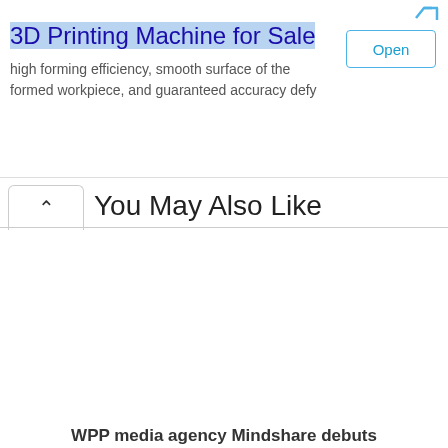[Figure (screenshot): Web advertisement banner for '3D Printing Machine for Sale' with blue title text on highlighted background, description text, and an 'Open' button with blue border]
You May Also Like
WPP media agency Mindshare debuts